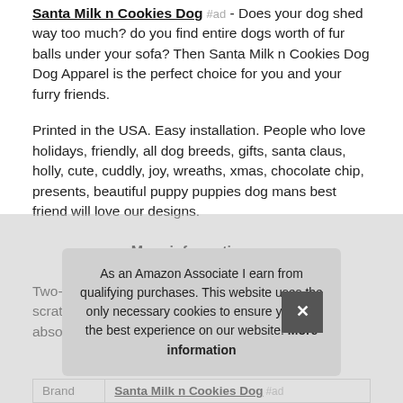Santa Milk n Cookies Dog #ad - Does your dog shed way too much? do you find entire dogs worth of fur balls under your sofa? Then Santa Milk n Cookies Dog Dog Apparel is the perfect choice for you and your furry friends.
Printed in the USA. Easy installation. People who love holidays, friendly, all dog breeds, gifts, santa claus, holly, cute, cuddly, joy, wreaths, xmas, chocolate chip, presents, beautiful puppy puppies dog mans best friend will love our designs.
More information #ad
Two-part protective case made from a premium scratch-resistant polycarbonate shell and shock absorbent TPU liner prot... hou...
As an Amazon Associate I earn from qualifying purchases. This website uses the only necessary cookies to ensure you get the best experience on our website. More information
| Brand |  |
| --- | --- |
| Brand | Santa Milk n Cookies Dog #ad |